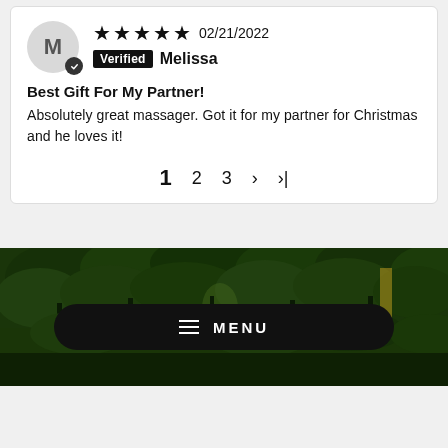★★★★★ 02/21/2022
Verified Melissa
Best Gift For My Partner!
Absolutely great massager. Got it for my partner for Christmas and he loves it!
1  2  3  >  >|
[Figure (photo): Forest scene with dark trees and green foliage background, with a hamburger menu pill button overlay reading MENU, and partial large white text at bottom.]